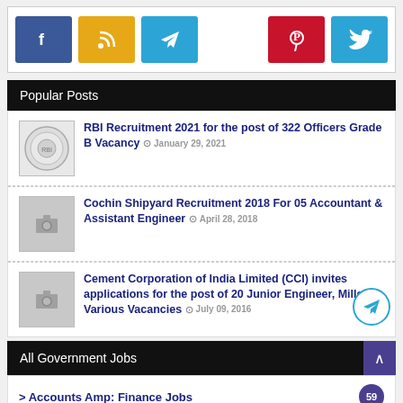[Figure (infographic): Social media share buttons: Facebook (blue), RSS (yellow/orange), Telegram (light blue), Pinterest (red), Twitter (light blue)]
Popular Posts
RBI Recruitment 2021 for the post of 322 Officers Grade B Vacancy — January 29, 2021
Cochin Shipyard Recruitment 2018 For 05 Accountant & Assistant Engineer — April 28, 2018
Cement Corporation of India Limited (CCI) invites applications for the post of 20 Junior Engineer, Miller & Various Vacancies — July 09, 2016
All Government Jobs
> Accounts Amp: Finance Jobs — 59